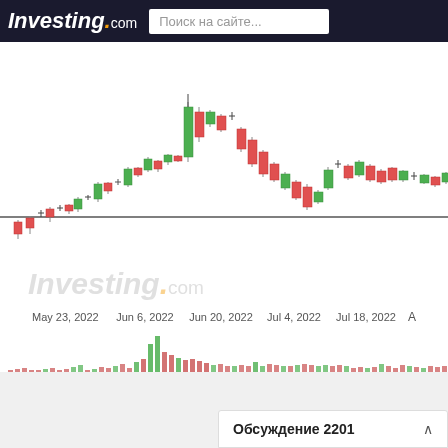Investing.com — Поиск на сайте...
[Figure (continuous-plot): Candlestick chart showing stock price from May 23, 2022 to approximately August 2022. Chart shows price rising from ~low in late May, peaking around Jun 20 2022, then declining to a low in early July, then recovering partially by late July. Red and green candlesticks displayed on white background with Investing.com watermark.]
May 23, 2022   Jun 6, 2022   Jun 20, 2022   Jul 4, 2022   Jul 18, 2022   A
[Figure (bar-chart): Volume bars below the candlestick chart. Green and red bars of varying heights representing trading volume over the same time period.]
1 день   1 неделя   1 месяц   3 месяца   6 месяцев   1 год
Обсуждение 2201